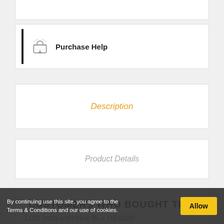Purchase Help
Description
Product Details
LCD 2x16 with blue BL+ DS1820
CUSTOMERS WHO BOUGHT THIS
By continuing use this site, you agree to the Terms & Conditions and our use of cookies.